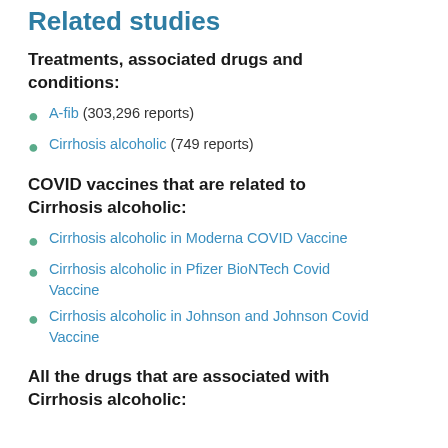Related studies
Treatments, associated drugs and conditions:
A-fib (303,296 reports)
Cirrhosis alcoholic (749 reports)
COVID vaccines that are related to Cirrhosis alcoholic:
Cirrhosis alcoholic in Moderna COVID Vaccine
Cirrhosis alcoholic in Pfizer BioNTech Covid Vaccine
Cirrhosis alcoholic in Johnson and Johnson Covid Vaccine
All the drugs that are associated with Cirrhosis alcoholic: